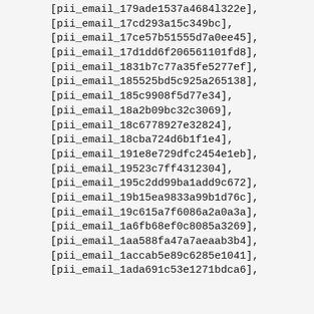[pii_email_179ade1537a4684l322e],
[pii_email_17cd293a15c349bc],
[pii_email_17ce57b51555d7a0ee45],
[pii_email_17d1dd6f206561101fd8],
[pii_email_1831b7c77a35fe5277ef],
[pii_email_185525bd5c925a265138],
[pii_email_185c9908f5d77e34],
[pii_email_18a2b09bc32c3069],
[pii_email_18c6778927e32824],
[pii_email_18cba724d6b1f1e4],
[pii_email_191e8e729dfc2454e1eb],
[pii_email_19523c7ff4312304],
[pii_email_195c2dd99ba1add9c672],
[pii_email_19b15ea9833a99b1d76c],
[pii_email_19c615a7f6086a2a0a3a],
[pii_email_1a6fb68ef0c8085a3269],
[pii_email_1aa588fa47a7aeaab3b4],
[pii_email_1accab5e89c6285e1041],
[pii_email_1ada691c53e1271bdca6],